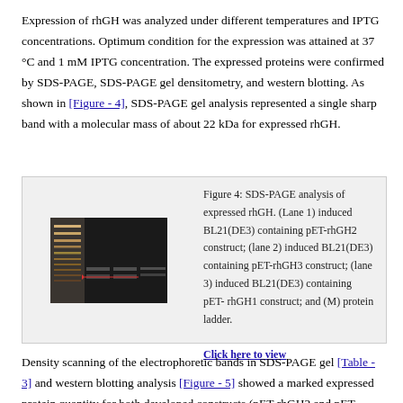Expression of rhGH was analyzed under different temperatures and IPTG concentrations. Optimum condition for the expression was attained at 37 °C and 1 mM IPTG concentration. The expressed proteins were confirmed by SDS-PAGE, SDS-PAGE gel densitometry, and western blotting. As shown in [Figure - 4], SDS-PAGE gel analysis represented a single sharp band with a molecular mass of about 22 kDa for expressed rhGH.
[Figure (photo): SDS-PAGE gel image showing bands for induced BL21(DE3) constructs pET-rhGH2, pET-rhGH3, pET-rhGH1, and protein ladder (M). Caption: Figure 4: SDS-PAGE analysis of expressed rhGH. (Lane 1) induced BL21(DE3) containing pET-rhGH2 construct; (lane 2) induced BL21(DE3) containing pET-rhGH3 construct; (lane 3) induced BL21(DE3) containing pET-rhGH1 construct; and (M) protein ladder.]
Density scanning of the electrophoretic bands in SDS-PAGE gel [Table - 3] and western blotting analysis [Figure - 5] showed a marked expressed protein quantity for both developed constructs (pET-rhGH2 and pET-rhGH3) in comparison with template vector (pET-rhGH1). According to scanning SDS-PAGE gel